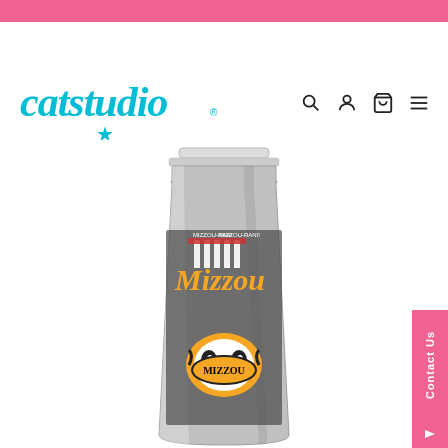[Figure (logo): catstudio brand logo in teal/turquoise cursive lettering with a star]
[Figure (photo): Stainless steel Mizzou University of Missouri tumbler cup with illustrated graphics including the Mizzou tiger mascot, Jesse Hall, and text reading Mizzou, Mizzou-rah, sold by catstudio]
Contact Us